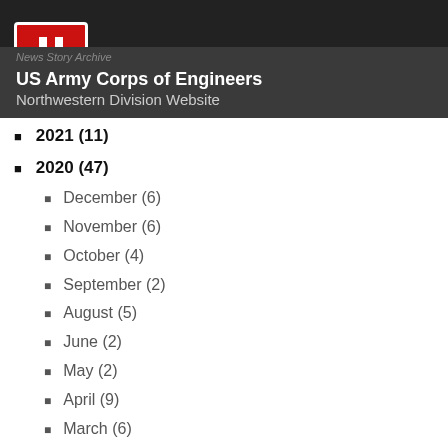US Army Corps of Engineers Northwestern Division Website
2021 (11)
2020 (47)
December (6)
November (6)
October (4)
September (2)
August (5)
June (2)
May (2)
April (9)
March (6)
February (2)
January (3)
2019 (40)
2018 (4)
2017 (4)